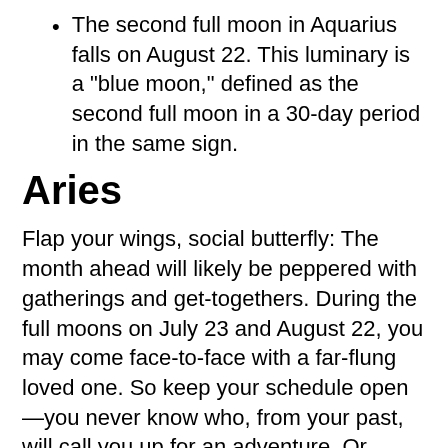The second full moon in Aquarius falls on August 22. This luminary is a “blue moon,” defined as the second full moon in a 30-day period in the same sign.
Aries
Flap your wings, social butterfly: The month ahead will likely be peppered with gatherings and get-togethers. During the full moons on July 23 and August 22, you may come face-to-face with a far-flung loved one. So keep your schedule open—you never know who, from your past, will call you up for an adventure. Or